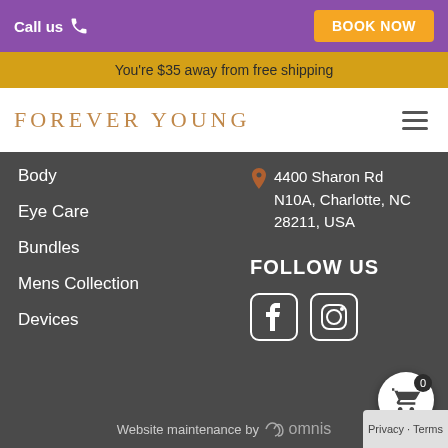Call us | BOOK NOW
You're $35 away from free shipping
FOREVER YOUNG
Body
Eye Care
Bundles
Mens Collection
Devices
4400 Sharon Rd N10A, Charlotte, NC 28211, USA
FOLLOW US
[Figure (illustration): Facebook and Instagram social media icons]
Website maintenance by omnis
Privacy · Terms